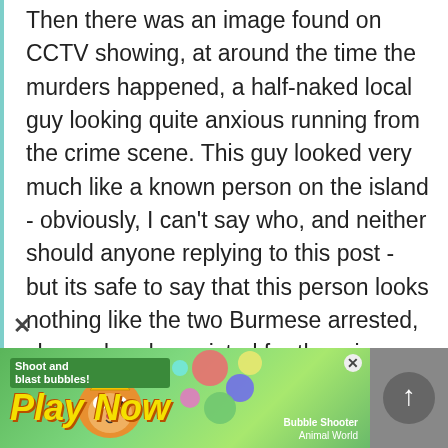Then there was an image found on CCTV showing, at around the time the murders happened, a half-naked local guy looking quite anxious running from the crime scene. This guy looked very much like a known person on the island - obviously, I can't say who, and neither should anyone replying to this post - but its safe to say that this person looks nothing like the two Burmese arrested, charged and convicted for the crime. Why wasn't this followed up? Well, you can probably figure that out for yourself.

I am only halfway into the first episode, and
[Figure (screenshot): Mobile game advertisement banner for 'Bubble Shooter Animal World' with green background, cartoon cat character, 'Shoot and blast bubbles!' text, and 'Play Now' in large yellow italic font.]